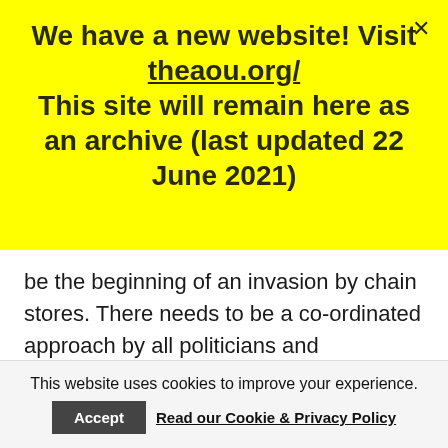We have a new website! Visit theaou.org/ This site will remain here as an archive (last updated 22 June 2021)
be the beginning of an invasion by chain stores. There needs to be a co-ordinated approach by all politicians and community leaders to build on the good work so far.
This website uses cookies to improve your experience.
Accept
Read our Cookie & Privacy Policy